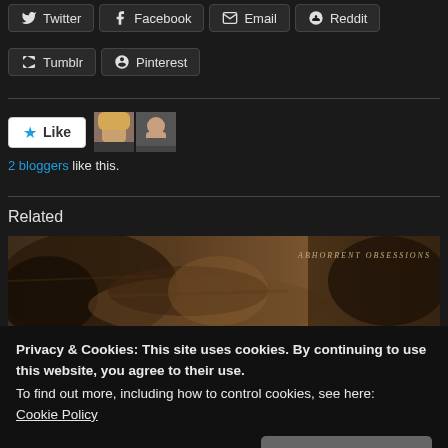Twitter
Facebook
Email
Reddit
Tumblr
Pinterest
2 bloggers like this.
Related
[Figure (photo): Movie/film promotional image with text 'ABHORRENT OBSESSIONS' in upper right area]
Privacy & Cookies: This site uses cookies. By continuing to use this website, you agree to their use.
To find out more, including how to control cookies, see here:
Cookie Policy